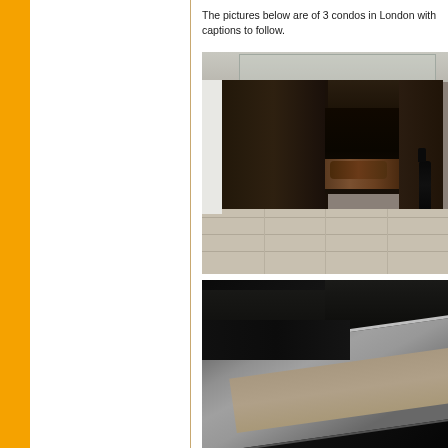The pictures below are of 3 condos in London with captions to follow.
[Figure (photo): Modern dark wood fireplace with glass panel surround, logs inside the firebox, a dark bottle to the right, on a light tile floor]
[Figure (photo): Close-up of a fireplace hearth area showing a metallic/silver framed surround on a dark surface, viewed from above at an angle]